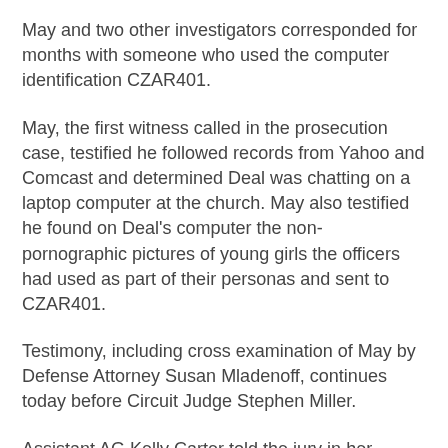May and two other investigators corresponded for months with someone who used the computer identification CZAR401.
May, the first witness called in the prosecution case, testified he followed records from Yahoo and Comcast and determined Deal was chatting on a laptop computer at the church. May also testified he found on Deal's computer the non-pornographic pictures of young girls the officers had used as part of their personas and sent to CZAR401.
Testimony, including cross examination of May by Defense Attorney Susan Mladenoff, continues today before Circuit Judge Stephen Miller.
Assistant AG Kelly Carter told the jury in her opening statement that Deal solicited the undercover agents, thinking they were young girls, for sexual acts.
"It was the nature of the communication that gives rise to the criminal case," Carter said.